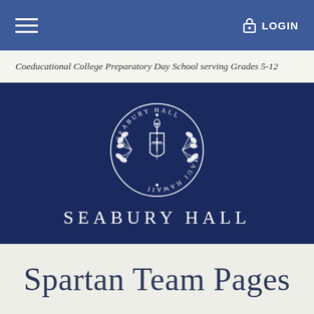≡  LOGIN
Coeducational College Preparatory Day School serving Grades 5-12
[Figure (logo): Seabury Hall school seal — circular emblem with laurel wreath, shield crest, text SEABURY HALL · MAUI HAWAII · on dark navy background, with SEABURY HALL text below in large spaced capitals]
Spartan Team Pages